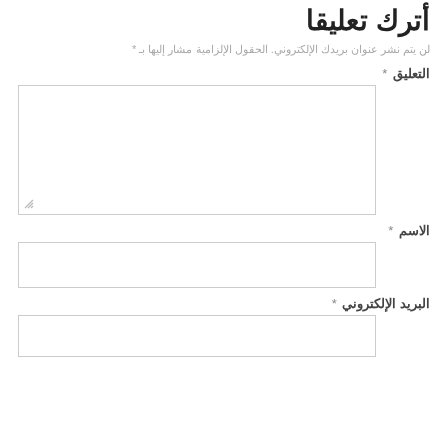أترك تعليقا
لن يتم نشر عنوان بريدك الإلكتروني. الحقول الإلزامية مشار إليها بـ *
التعليق *
الاسم *
البريد الإلكتروني *